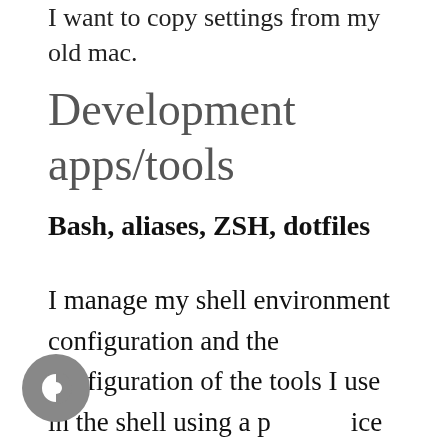I want to copy settings from my old mac.
Development apps/tools
Bash, aliases, ZSH, dotfiles
I manage my shell environment configuration and the configuration of the tools I use in the shell using a practice called dotfiles. What it means is a lot of people share their shell